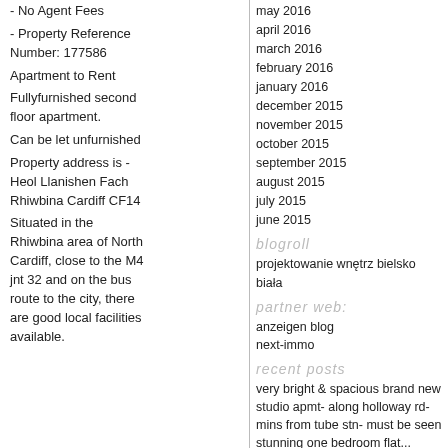- No Agent Fees
- Property Reference Number: 177586
Apartment to Rent
Fullyfurnished second floor apartment.
Can be let unfurnished
Property address is - Heol Llanishen Fach Rhiwbina Cardiff CF14
Situated in the Rhiwbina area of North Cardiff, close to the M4 jnt 32 and on the bus route to the city, there are good local facilities available.
may 2016
april 2016
march 2016
february 2016
january 2016
december 2015
november 2015
october 2015
september 2015
august 2015
july 2015
june 2015
blogroll
projektowanie wnętrz bielsko biała
partner web:
anzeigen blog
next-immo
recent posts
very bright & spacious brand new studio apmt- along holloway rd- mins from tube stn- must be seen
stunning one bedroom flat...
myletz are proud to offer one bedroom flat, located on cowper street
3 double bedroom 2 bathroom